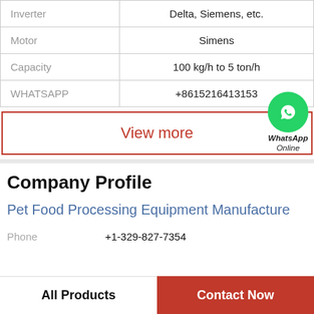| Parameter | Value |
| --- | --- |
| Inverter | Delta, Siemens, etc. |
| Motor | Simens |
| Capacity | 100 kg/h to 5 ton/h |
| WHATSAPP | +8615216413153 |
View more
[Figure (logo): WhatsApp Online badge with green circle icon and text 'WhatsApp Online']
Company Profile
Pet Food Processing Equipment Manufacture
Phone  +1-329-827-7354
All Products
Contact Now